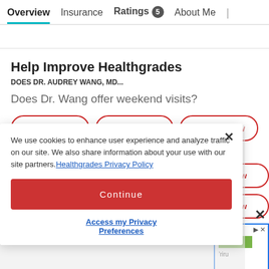Overview | Insurance | Ratings 5 | About Me |
Help Improve Healthgrades
DOES DR. AUDREY WANG, MD...
Does Dr. Wang offer weekend visits?
Yes
No
I don't know
We use cookies to enhance user experience and analyze traffic on our site. We also share information about your use with our site partners. Healthgrades Privacy Policy
Continue
Access my Privacy Preferences